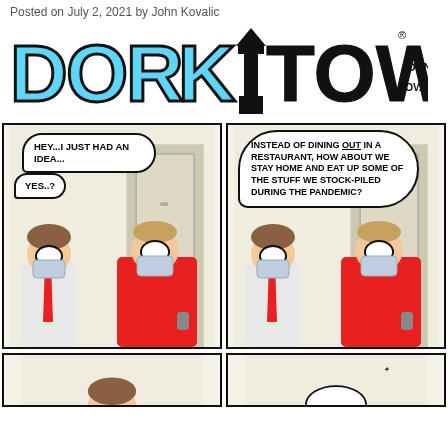Posted on July 2, 2021 by John Kovalic
[Figure (logo): Dork Tower comic strip logo — large stylized blue and black lettering 'DORK TOWER' with 'BY JOHN KOVALIC' in hand-lettered style]
[Figure (illustration): Comic panel 1: Two characters wearing face masks. One says 'HEY...I JUST HAD AN IDEA...' and the other responds 'YES..?']
[Figure (illustration): Comic panel 2: Same two characters. Speech bubble reads 'INSTEAD OF DINING OUT IN A RESTAURANT, HOW ABOUT WE STAY HOME AND EAT UP SOME OF THE STUFF WE STOCK-PILED DURING THE PANDEMIC?']
[Figure (illustration): Comic panel 3 (partial, bottom left): Partially visible panel showing character]
[Figure (illustration): Comic panel 4 (partial, bottom right): Partially visible panel showing character]